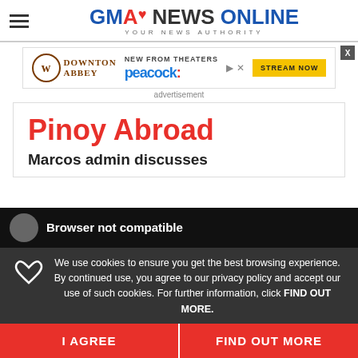GMA NEWS ONLINE - YOUR NEWS AUTHORITY
[Figure (screenshot): Downton Abbey advertisement banner with Peacock streaming - 'New from Theaters, Stream Now']
advertisement
Pinoy Abroad
Marcos admin discusses
Browser not compatible
We use cookies to ensure you get the best browsing experience. By continued use, you agree to our privacy policy and accept our use of such cookies. For further information, click FIND OUT MORE.
I AGREE
FIND OUT MORE